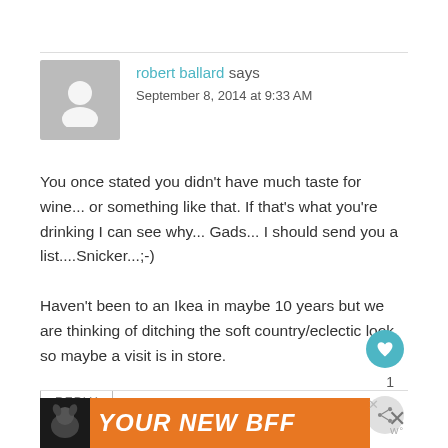robert ballard says
September 8, 2014 at 9:33 AM
You once stated you didn't have much taste for wine... or something like that. If that's what you're drinking I can see why... Gads... I should send you a list....Snicker...;-)

Haven't been to an Ikea in maybe 10 years but we are thinking of ditching the soft country/eclectic look so maybe a visit is in store.
REPLY
[Figure (other): Advertisement banner with orange background showing a dog image and text 'YOUR NEW BFF']